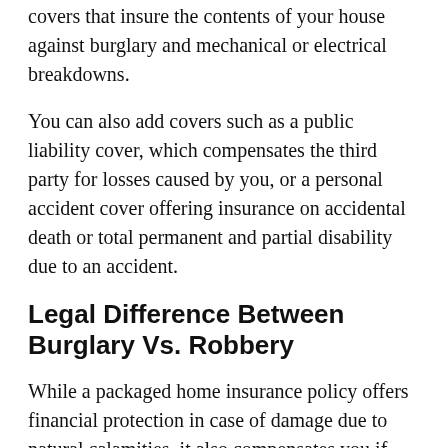covers that insure the contents of your house against burglary and mechanical or electrical breakdowns.
You can also add covers such as a public liability cover, which compensates the third party for losses caused by you, or a personal accident cover offering insurance on accidental death or total permanent and partial disability due to an accident.
Legal Difference Between Burglary Vs. Robbery
While a packaged home insurance policy offers financial protection in case of damage due to natural calamities, it also compensates you if somebody breaks into your house and steals your valuables. Burglary is a real threat, and it is good that your insurance covers it. But you must go through the insurance policy's details to know how it defines burglary.
While you may use the words burglary and robbery